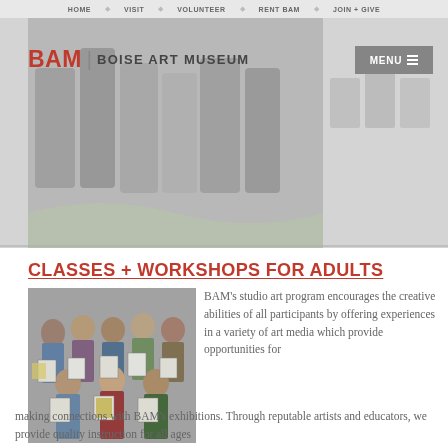HOME  VISIT  VOLUNTEER  RENT BAM  JOIN + GIVE
[Figure (photo): Hero image: museum interior with people and chairs, showing BAM Boise Art Museum logo and MENU button overlay]
CLASSES + WORKSHOPS for ADULTS
[Figure (photo): Group photo of adults in an art class holding up their artwork/prints]
BAM's studio art program encourages the creative abilities of all participants by offering experiences in a variety of art media which provide opportunities for making connections with BAM's exhibitions. Through reputable artists and educators, we provide quality instruction for all ages